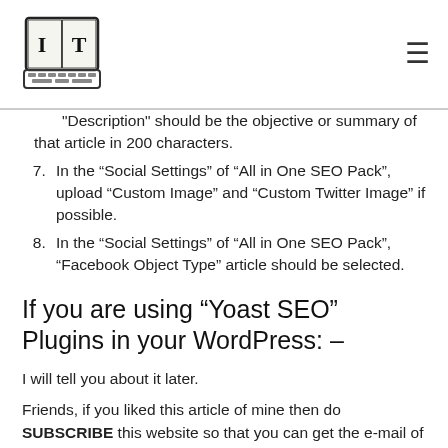IT logo and navigation menu
Description" should be the objective or summary of that article in 200 characters.
7. In the “Social Settings” of “All in One SEO Pack”, upload “Custom Image” and “Custom Twitter Image” if possible.
8. In the “Social Settings” of “All in One SEO Pack”, “Facebook Object Type” article should be selected.
If you are using “Yoast SEO” Plugins in your WordPress: –
I will tell you about it later.
Friends, if you liked this article of mine then do SUBSCRIBE this website so that you can get the e-mail of